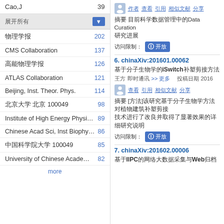Cao,J 39
展开所有
物理学报 202
CMS Collaboration 137
高能物理学报 126
ATLAS Collaboration 121
Beijing, Inst. Theor. Phys. 114
北京大学 北京 100049 98
Institute of High Energy Physi… 89
Chinese Acad Sci, Inst Biophy… 86
中国科学院大学 100049 85
University of Chinese Acade… 82
more
作者 查看 引用 相似文献 分享
摘要 目前科学数据管理中的Data Curation研究进展
访问限制：开放
6. chinaXiv:201601.00062
基于分子生物学的iSwitch补塑剪接方法
王方 即时通讯 >> 更多 投稿日期 2016
查看 引用 相似文献 分享
摘要 [方法]该研究基于分子生物学方法对植物建筑补塑剪接技术进行了改良并取得了显著效果的详细研究说明
访问限制：开放
7. chinaXiv:201602.00006
基于IIPC的网络大数据采集与Web归档